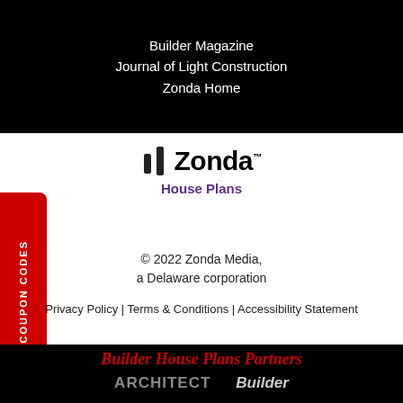Builder Magazine
Journal of Light Construction
Zonda Home
[Figure (logo): Zonda House Plans logo with slash mark icon and purple subtitle]
© 2022 Zonda Media, a Delaware corporation
Privacy Policy | Terms & Conditions | Accessibility Statement
COUPON CODES
Builder House Plans Partners
[Figure (logo): ARCHITECT and Builder brand logos in gray on black background]